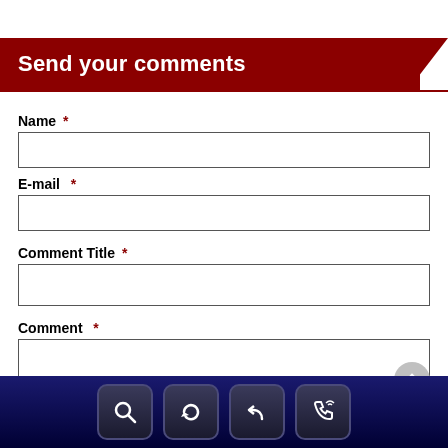Send your comments
Name *
E-mail *
Comment Title *
Comment *
[Figure (other): Navigation bar with four icon buttons: search (magnifying glass), refresh, back/undo, and phone/call icons on a dark navy blue background]